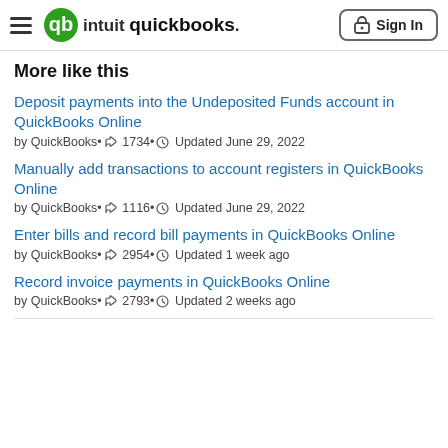QuickBooks — Sign In
More like this
Deposit payments into the Undeposited Funds account in QuickBooks Online
by QuickBooks • 👍 1734 • 🕐 Updated June 29, 2022
Manually add transactions to account registers in QuickBooks Online
by QuickBooks • 👍 1116 • 🕐 Updated June 29, 2022
Enter bills and record bill payments in QuickBooks Online
by QuickBooks • 👍 2954 • 🕐 Updated 1 week ago
Record invoice payments in QuickBooks Online
by QuickBooks • 👍 2793 • 🕐 Updated 2 weeks ago